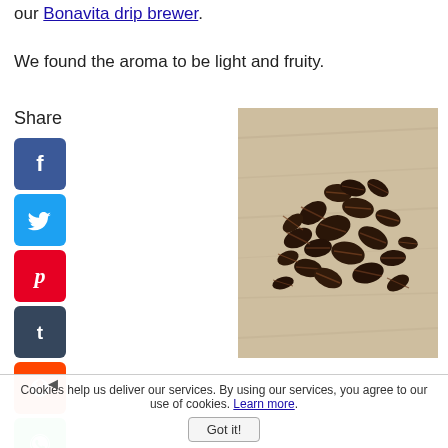our Bonavita drip brewer.
We found the aroma to be light and fruity.
Share
[Figure (infographic): Column of 7 social media share buttons: Facebook (blue), Twitter (blue), Pinterest (red), Tumblr (dark blue), Reddit (orange), WhatsApp (green), Messenger (blue circle)]
[Figure (photo): Overhead photo of roasted coffee beans scattered on a light wooden surface]
Cookies help us deliver our services. By using our services, you agree to our use of cookies. Learn more.
Got it!